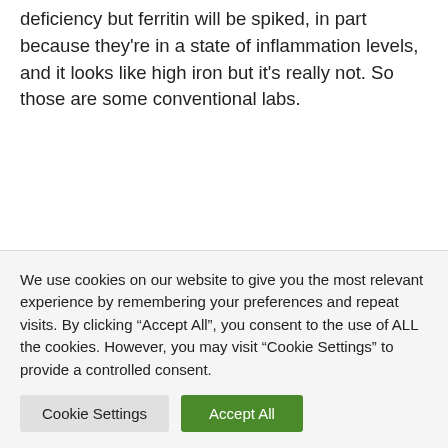deficiency but ferritin will be spiked, in part because they're in a state of inflammation levels, and it looks like high iron but it's really not. So those are some conventional labs.
And then in functional medicine, we get a lot more granular and specific with different things based off of somebody's health history. So not everybody has to
We use cookies on our website to give you the most relevant experience by remembering your preferences and repeat visits. By clicking "Accept All", you consent to the use of ALL the cookies. However, you may visit "Cookie Settings" to provide a controlled consent.